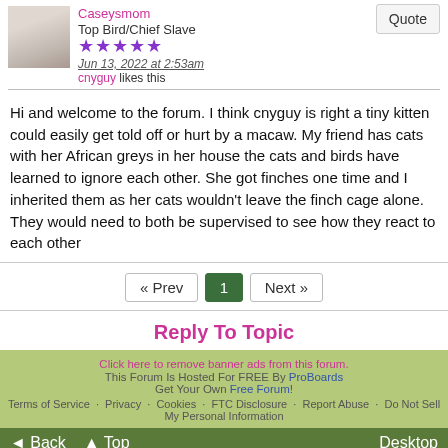Caseysmom
Top Bird/Chief Slave
★★★★★
Jun 13, 2022 at 2:53am
cnyguy likes this
Hi and welcome to the forum. I think cnyguy is right a tiny kitten could easily get told off or hurt by a macaw. My friend has cats with her African greys in her house the cats and birds have learned to ignore each other. She got finches one time and I inherited them as her cats wouldn't leave the finch cage alone. They would need to both be supervised to see how they react to each other
« Prev | 1 | Next »
Reply To Topic
Click here to remove banner ads from this forum.
This Forum Is Hosted For FREE By ProBoards
Get Your Own Free Forum!
Terms of Service · Privacy · Cookies · FTC Disclosure · Report Abuse · Do Not Sell My Personal Information
◄ Back  ▲ Top  Desktop